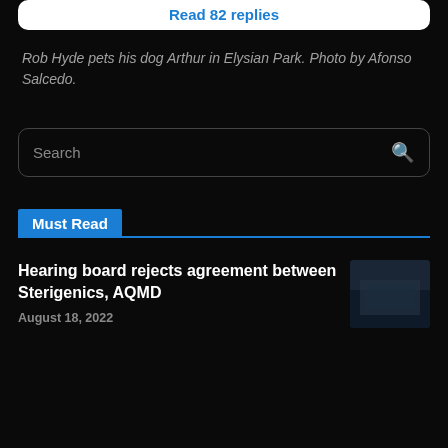Read 82 replies
Rob Hyde pets his dog Arthur in Elysian Park. Photo by Afonso Salcedo.
Search
Must Read
Hearing board rejects agreement between Sterigenics, AQMD
August 18, 2022